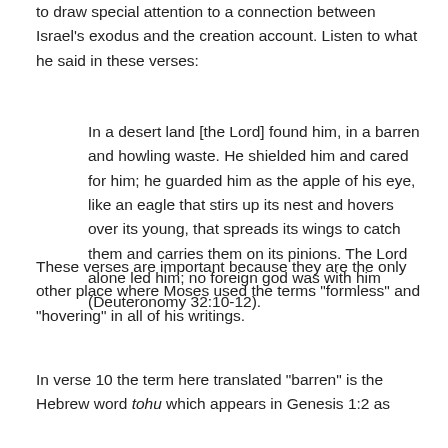to draw special attention to a connection between Israel's exodus and the creation account. Listen to what he said in these verses:
In a desert land [the Lord] found him, in a barren and howling waste. He shielded him and cared for him; he guarded him as the apple of his eye, like an eagle that stirs up its nest and hovers over its young, that spreads its wings to catch them and carries them on its pinions. The Lord alone led him; no foreign god was with him (Deuteronomy 32:10-12).
These verses are important because they are the only other place where Moses used the terms "formless" and "hovering" in all of his writings.
In verse 10 the term here translated "barren" is the Hebrew word tohu which appears in Genesis 1:2 as